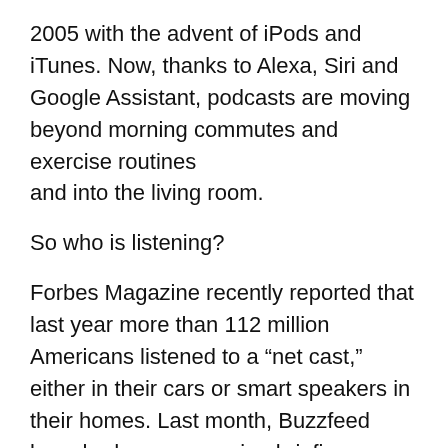2005 with the advent of iPods and iTunes. Now, thanks to Alexa, Siri and Google Assistant, podcasts are moving beyond morning commutes and exercise routines and into the living room.
So who is listening?
Forbes Magazine recently reported that last year more than 112 million Americans listened to a “net cast,” either in their cars or smart speakers in their homes. Last month, Buzzfeed launched a new morning briefing, Reporting to You, made for smart-speakers. Amazon and Google smart speakers account for more than 16 percent of weekly total listening hours for NPR member station streams